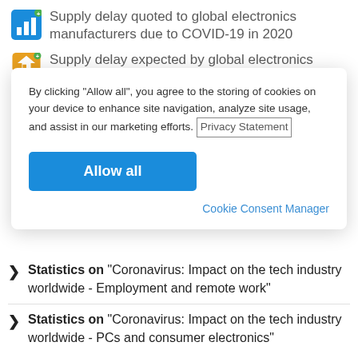Supply delay quoted to global electronics manufacturers due to COVID-19 in 2020
Supply delay expected by global electronics
By clicking “Allow all”, you agree to the storing of cookies on your device to enhance site navigation, analyze site usage, and assist in our marketing efforts. Privacy Statement
Allow all
Cookie Consent Manager
Statistics on "Coronavirus: Impact on the tech industry worldwide - Employment and remote work"
Statistics on "Coronavirus: Impact on the tech industry worldwide - PCs and consumer electronics"